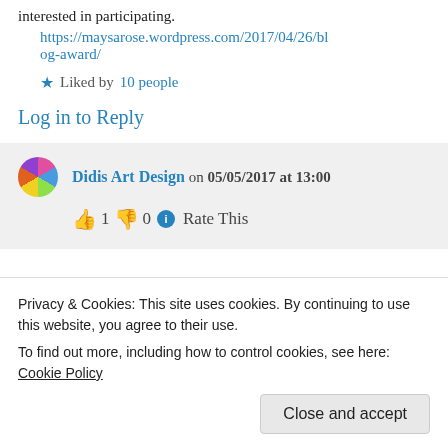interested in participating.
https://maysarose.wordpress.com/2017/04/26/blog-award/
★ Liked by 10 people
Log in to Reply
Didis Art Design on 05/05/2017 at 13:00
👍 1 👎 0 ℹ Rate This
Privacy & Cookies: This site uses cookies. By continuing to use this website, you agree to their use.
To find out more, including how to control cookies, see here: Cookie Policy
Close and accept